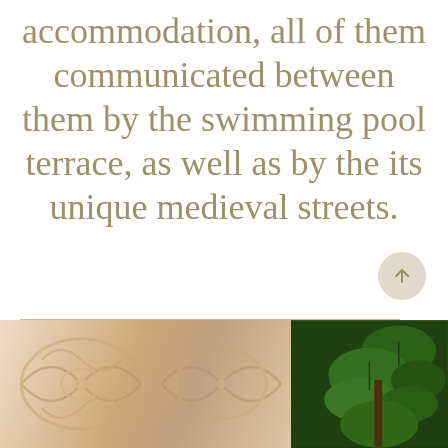accommodation, all of them communicated between them by the swimming pool terrace, as well as by the its unique medieval streets.
[Figure (photo): Interior photo showing an ornately carved white decorative panel with scroll and floral motifs on the left, and a green leafy plant (fiddle-leaf fig or similar) on the right, against a warm neutral background.]